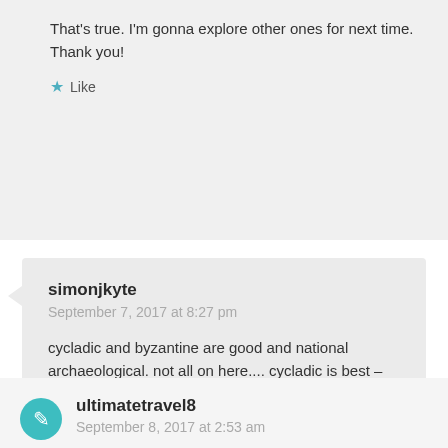That's true. I'm gonna explore other ones for next time. Thank you!
Like
simonjkyte
September 7, 2017 at 8:27 pm
cycladic and byzantine are good and national archaeological. not all on here.... cycladic is best – private one
https://mycenaeanargolid.wordpress.com/
Liked by 1 person
ultimatetravel8
September 8, 2017 at 2:53 am